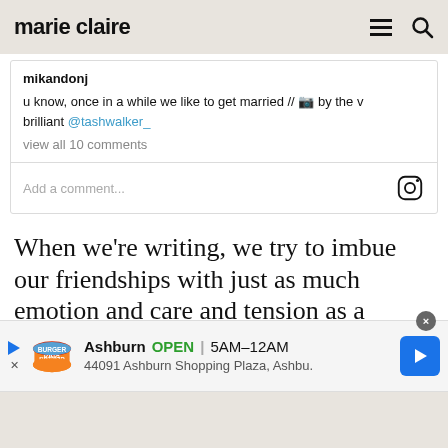marie claire
mikandonj

u know, once in a while we like to get married // 📷 by the v brilliant @tashwalker_

view all 10 comments

Add a comment...
When we're writing, we try to imbue our friendships with just as much emotion and care and tension as a romantic relationship. The
[Figure (screenshot): Burger King advertisement banner: Ashburn OPEN | 5AM-12AM, 44091 Ashburn Shopping Plaza, Ashbu.]